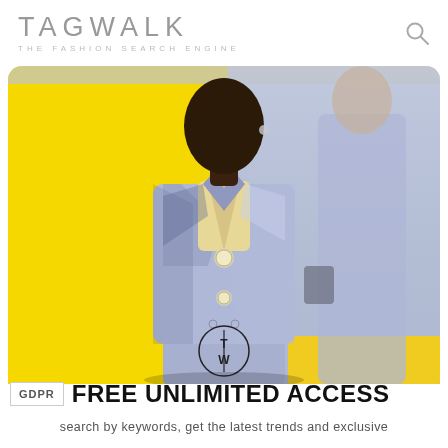TAGWALK — THE FASHION SEARCH ENGINE
[Figure (photo): Fashion runway photo: a model wearing a lavender/light blue suit with a yellow scarf/neckerchief, walking on a yellow runway. A second blurred model in a similar outfit visible in the background to the right. Yellow background on the left side of the image.]
[Figure (logo): Tagwalk T/W circular logo mark]
GDPR   FREE UNLIMITED ACCESS
search by keywords, get the latest trends and exclusive